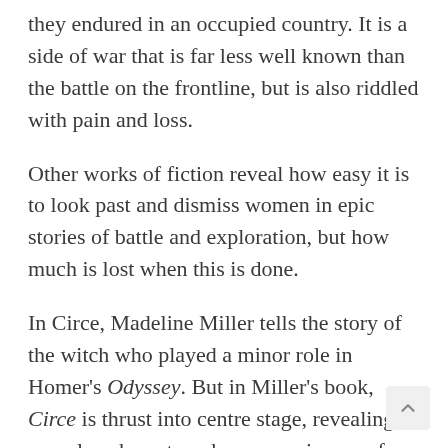they endured in an occupied country. It is a side of war that is far less well known than the battle on the frontline, but is also riddled with pain and loss.
Other works of fiction reveal how easy it is to look past and dismiss women in epic stories of battle and exploration, but how much is lost when this is done.
In Circe, Madeline Miller tells the story of the witch who played a minor role in Homer's Odyssey. But in Miller's book, Circe is thrust into centre stage, revealing a complex character whose experiences of being cast out of the home of her father, Helios, and banish to an island where she encounters different